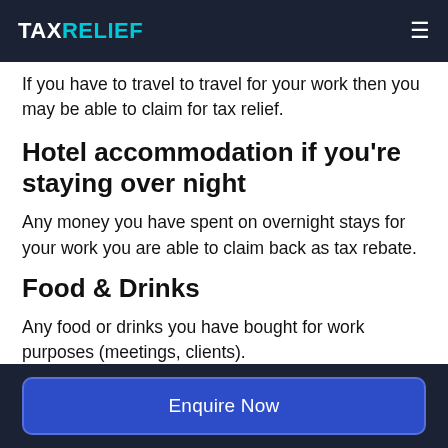TAXRELIEF
If you have to travel to travel for your work then you may be able to claim for tax relief.
Hotel accommodation if you're staying over night
Any money you have spent on overnight stays for your work you are able to claim back as tax rebate.
Food & Drinks
Any food or drinks you have bought for work purposes (meetings, clients).
Enquire Now